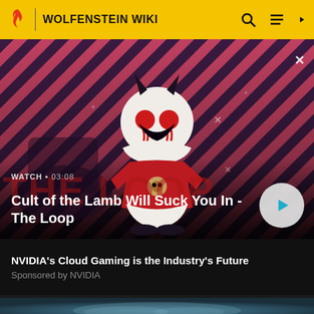WOLFENSTEIN WIKI
[Figure (screenshot): Video thumbnail showing Cult of the Lamb character on diagonal red and dark purple striped background with 'THE LOOP' text. Watch timer shows 03:08. Play button visible.]
Cult of the Lamb Will Suck You In - The Loop
NVIDIA's Cloud Gaming is the Industry's Future
Sponsored by NVIDIA
[Figure (photo): Dark teal/blue atmospheric image, partial view at bottom of page]